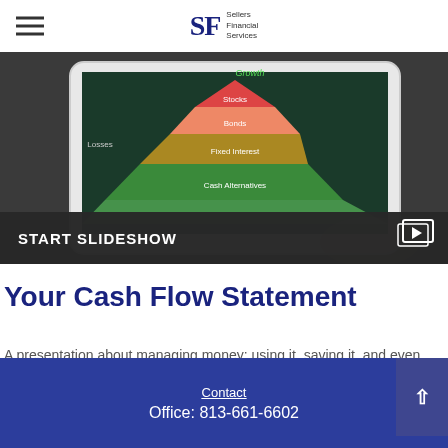Sellers Financial Services logo and navigation
[Figure (photo): Person holding a tablet showing a layered pyramid/funnel investment chart with labels: Stocks, Bonds, Fixed Interest, Cash Alternatives, with a 'START SLIDESHOW' overlay bar at the bottom]
Your Cash Flow Statement
A presentation about managing money: using it, saving it, and even getting credit.
Contact
Office: 813-661-6602